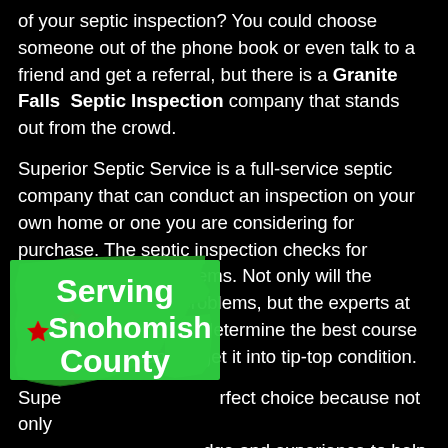of your septic inspection? You could choose someone out of the phone book or even talk to a friend and get a referral, but there is a Granite Falls Septic Inspection company that stands out from the crowd.
Superior Septic Service is a full-service septic company that can conduct an inspection on your own home or one you are considering for purchase. The septic inspection checks for several possible problems. Not only will the inspection highlight problems, but the experts at Superior can help you determine the best course of work for the tank to get it into tip-top condition.
Supe[rior is the pe]rfect choice because not only [do they have the know]ledge and experience to help [you with your tank,] but they have customer [service that puts other ]companies to shame. You want som[eone th]at you can talk to about your septic
[Figure (infographic): Green silhouette map of Washington State with a red star marker, overlaid with text 'Serving Snohomish County' in bold white text on green background]